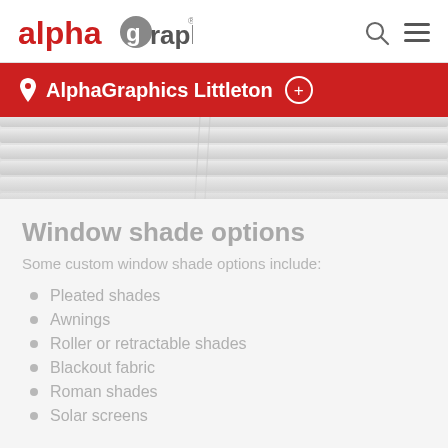alphagraphics
AlphaGraphics Littleton
[Figure (photo): Close-up photo of white horizontal window blinds/shades slightly open, pale grey-white tones]
Window shade options
Some custom window shade options include:
Pleated shades
Awnings
Roller or retractable shades
Blackout fabric
Roman shades
Solar screens